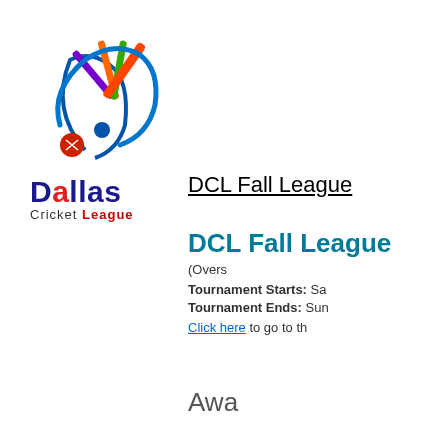[Figure (logo): Dallas Cricket League logo with colorful cricket bats fanned out and a circular swoosh design]
DCL Fall League
DCL Fall League
(Overs
Tournament Starts: Sa
Tournament Ends: Sun
Click here to go to th
Awa